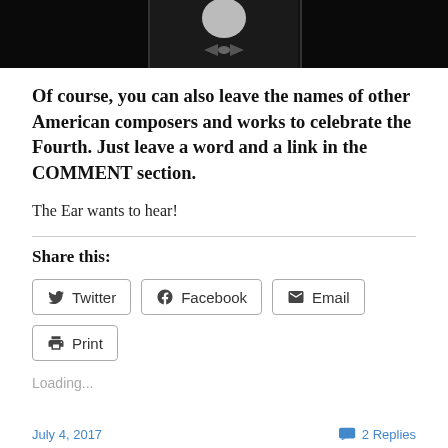[Figure (photo): Black and white photo strip showing a person in formal attire, split into three panels]
Of course, you can also leave the names of other American composers and works to celebrate the Fourth. Just leave a word and a link in the COMMENT section.
The Ear wants to hear!
Share this:
Twitter
Facebook
Email
Print
Loading...
July 4, 2017   2 Replies